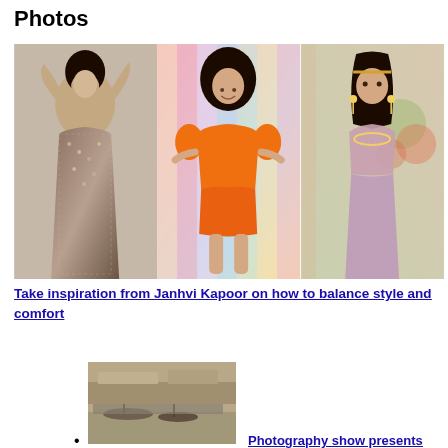Photos
[Figure (photo): Three photos of Janhvi Kapoor: left - sequined bodycon dress, center - orange off-shoulder outfit against colorful background, right - traditional Indian lehenga with jewelry]
Take inspiration from Janhvi Kapoor on how to balance style and comfort
[Figure (photo): Black and white historical photograph showing a waterfront or harbor scene with boats and crowd]
Photography show presents visions of